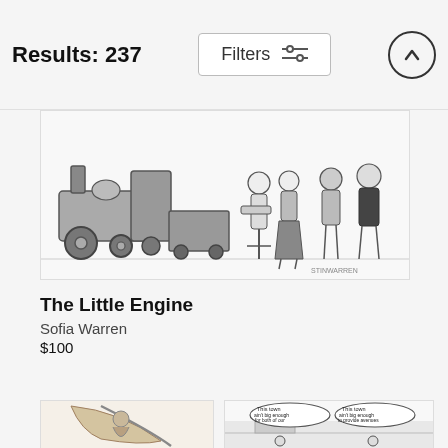Results: 237
Filters
[Figure (illustration): Black and white cartoon illustration showing a toy steam engine/train with several people gathered around it, including a bearded man presenting something on a tray to a group of people. Signed 'STINWARREN' in bottom right.]
The Little Engine
Sofia Warren
$100
[Figure (illustration): Partial view of a color or detailed cartoon illustration at bottom left.]
[Figure (illustration): Partial view of a black and white cartoon showing two cowboys facing each other with speech bubbles reading 'This town ain't big enough for both of our concepts of personal space.' and 'This town ain't big enough to provide avenues of self-esteem for both of us.']